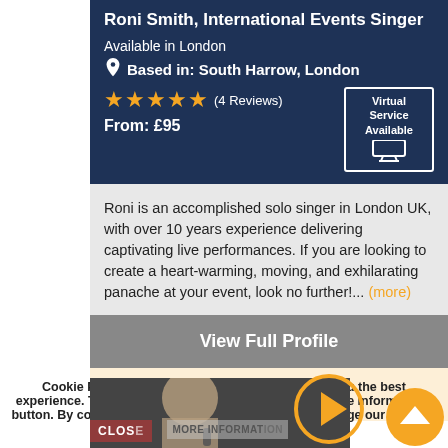Roni Smith, International Events Singer
Available in London
Based in: South Harrow, London
★★★★★ (4 Reviews)
From: £95
Virtual Service Available
Roni is an accomplished solo singer in London UK, with over 10 years experience delivering captivating live performances. If you are looking to create a heart-warming, moving, and exhilarating panache at your event, look no further!... (more)
View Full Profile
Request a Quote
Cookie Policy: Our website uses cookies to give you the best experience. To read our privacy policy click on the "More Information" button. By continuing to use our website you acknowledge our practice and give your consent for us to do this.
[Figure (photo): Photo of Roni Smith singing into a microphone]
CLOSE
MORE INFORMATION